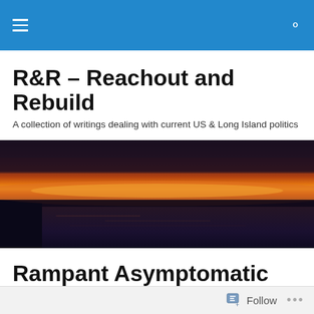R&R – Reachout and Rebuild (navigation bar)
R&R – Reachout and Rebuild
A collection of writings dealing with current US & Long Island politics
[Figure (photo): Sunset over water showing orange and dark sky with calm sea]
Rampant Asymptomatic COVID-19 in a Homeless Shelter
Follow